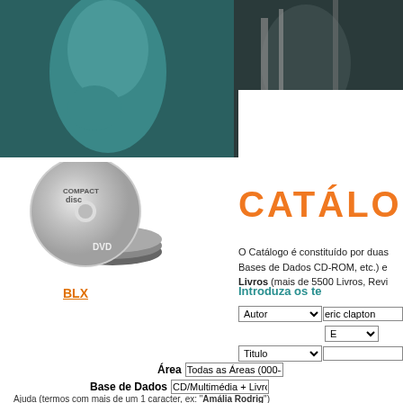[Figure (photo): Header photo showing person with teal/green coloring and dark background]
CATÁLOGO
[Figure (illustration): CD/DVD disc icon with stacked discs below it]
BLX
O Catálogo é constituído por duas Bases de Dados CD-ROM, etc.) e Livros (mais de 5500 Livros, Revi
Introduza os te
Autor — eric clapton, E dropdown, Titulo field
Área  Todas as Áreas (000-8
Base de Dados  CD/Multimédia + Livros
Ajuda (termos com mais de um 1 caracter, ex: "Amália Rodrig")